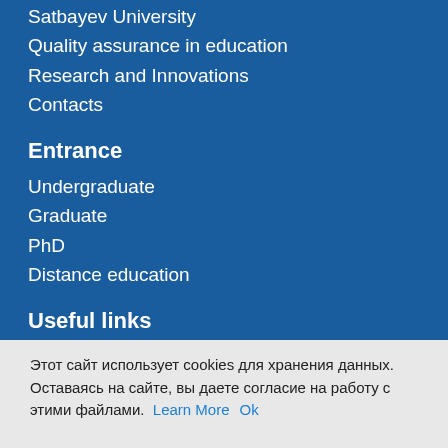Satbayev University
Quality assurance in education
Research and Innovations
Contacts
Entrance
Undergraduate
Graduate
PhD
Distance education
Useful links
Online entrance
Educational portal
Этот сайт использует cookies для хранения данных. Оставаясь на сайте, вы даете согласие на работу с этими файлами. Learn More Ok